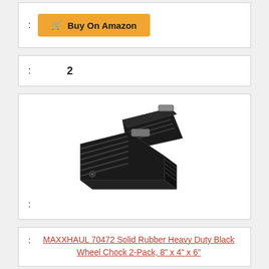[Figure (other): Buy On Amazon button with cart icon, orange background]
: 2
[Figure (photo): Two black rubber wheel chocks (MAXXHAUL 70472), heavy duty, shown from an angle on white background]
:
: MAXXHAUL 70472 Solid Rubber Heavy Duty Black Wheel Chock 2-Pack, 8" x 4" x 6"